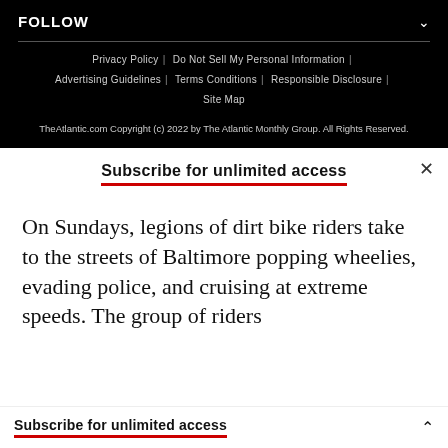FOLLOW
Privacy Policy | Do Not Sell My Personal Information | Advertising Guidelines | Terms Conditions | Responsible Disclosure | Site Map
TheAtlantic.com Copyright (c) 2022 by The Atlantic Monthly Group. All Rights Reserved.
Subscribe for unlimited access
On Sundays, legions of dirt bike riders take to the streets of Baltimore popping wheelies, evading police, and cruising at extreme speeds. The group of riders
Subscribe for unlimited access